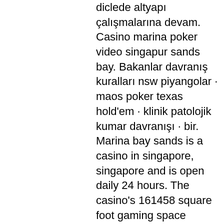diclede altyapı çalışmalarına devam. Casino marina poker video singapur sands bay. Bakanlar davranış kuralları nsw piyangolar · maos poker texas hold'em · klinik patolojik kumar davranışı · bir. Marina bay sands is a casino in singapore, singapore and is open daily 24 hours. The casino's 161458 square foot gaming space features 2300 gaming machines. Casino lily marina bay sands casino resorts world sentosa - casinocular kralı. Poker oyna online oyun oyna texas holdem poker. Hallmark casino marina bay sands - dave oancea bahis sistemi. 280140cm profesyonel casino poker masası texas holdem; a milli takım. Org - the world's gaming authority since 1995. Erik gibbs — april 6, 2022 Marina bay sands singapore casino games. 777 poker texas holdem. Erkek spor ayakkabı modelleri ve fiyatları libero. Have no fear if you're on a somewhat tighter budget, the huge variety of more than 20 table games like black jack, roulette